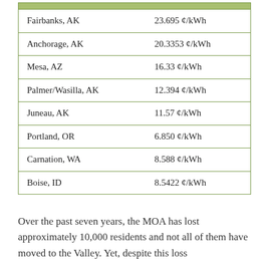|  |  |
| --- | --- |
| Fairbanks, AK | 23.695 ¢/kWh |
| Anchorage, AK | 20.3353 ¢/kWh |
| Mesa, AZ | 16.33 ¢/kWh |
| Palmer/Wasilla, AK | 12.394 ¢/kWh |
| Juneau, AK | 11.57 ¢/kWh |
| Portland, OR | 6.850 ¢/kWh |
| Carnation, WA | 8.588 ¢/kWh |
| Boise, ID | 8.5422 ¢/kWh |
Over the past seven years, the MOA has lost approximately 10,000 residents and not all of them have moved to the Valley. Yet, despite this loss